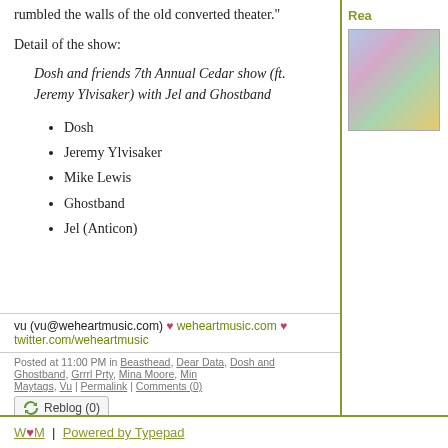rumbled the walls of the old converted theater."
Detail of the show:
Dosh and friends 7th Annual Cedar show (ft. Jeremy Ylvisaker) with Jel and Ghostband
Dosh
Jeremy Ylvisaker
Mike Lewis
Ghostband
Jel (Anticon)
vu (vu@weheartmusic.com) ♥ weheartmusic.com ♥ twitter.com/weheartmusic
Posted at 11:00 PM in Beasthead, Dear Data, Dosh and Ghostband, Grrrl Prty, Mina Moore, Min... Maytags, Vu | Permalink | Comments (0)
Reblog (0)
Rea...
W♥M | Powered by Typepad